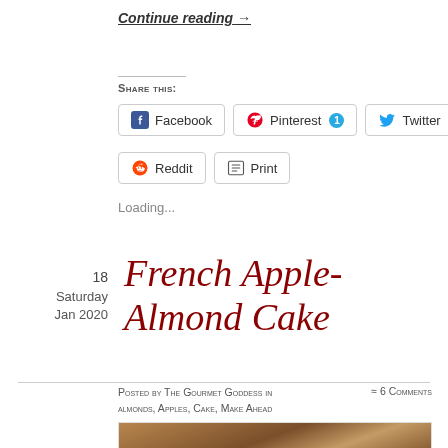Continue reading →
Share this:
Facebook  Pinterest 1  Twitter  Reddit  Print
Loading...
18
Saturday
Jan 2020
French Apple-Almond Cake
Posted by The Gourmet Goddess in almonds, Apples, Cake, Make Ahead   ≈ 6 Comments
[Figure (photo): Photo of French Apple-Almond Cake, partially visible at bottom of page]